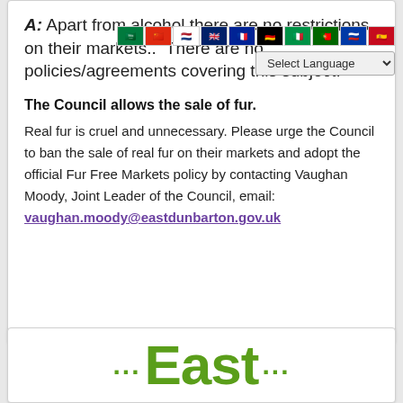A: Apart from alcohol there are no restrictions on their markets.. There are no policies/agreements covering this subject.
The Council allows the sale of fur.
Real fur is cruel and unnecessary. Please urge the Council to ban the sale of real fur on their markets and adopt the official Fur Free Markets policy by contacting Vaughan Moody, Joint Leader of the Council, email: vaughan.moody@eastdunbarton.gov.uk
[Figure (illustration): Bottom section showing partial green bold text 'East' with decorative dots, part of a council logo or banner]